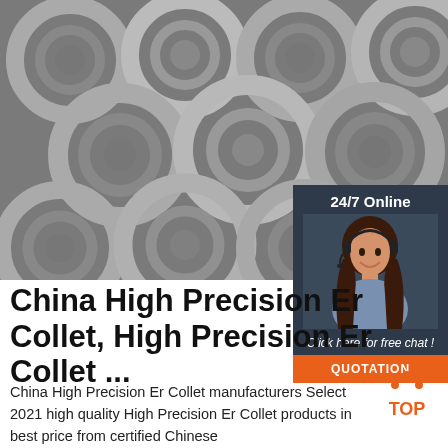[Figure (photo): Stacked coils of steel wire rod, gray metallic circles viewed from front]
[Figure (infographic): 24/7 Online panel with customer service agent wearing headset, Click here for free chat, QUOTATION button in orange]
China High Precision Er Collet, High Precision Er Collet ...
China High Precision Er Collet manufacturers Select 2021 high quality High Precision Er Collet products in best price from certified Chinese
[Figure (logo): TOP badge logo with orange triangle dots and orange TOP text]